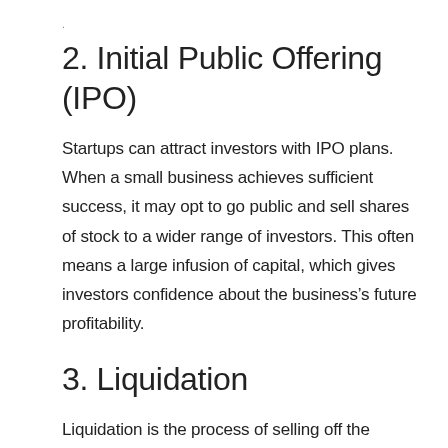.
2. Initial Public Offering (IPO)
Startups can attract investors with IPO plans. When a small business achieves sufficient success, it may opt to go public and sell shares of stock to a wider range of investors. This often means a large infusion of capital, which gives investors confidence about the business’s future profitability.
3. Liquidation
Liquidation is the process of selling off the business’s assets when the owner feels it’s time to shut down the venture due to losses or other circumstances. This is not a recommended strategy, however, as it often